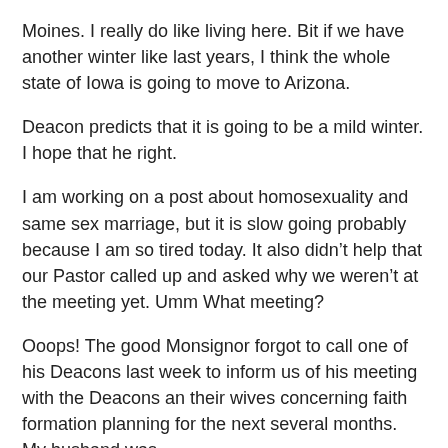Moines. I really do like living here. Bit if we have another winter like last years, I think the whole state of Iowa is going to move to Arizona.
Deacon predicts that it is going to be a mild winter. I hope that he right.
I am working on a post about homosexuality and same sex marriage, but it is slow going probably because I am so tired today. It also didn't help that our Pastor called up and asked why we weren't at  the meeting yet. Umm What meeting?
Ooops! The good Monsignor forgot to call one of his Deacons last week to inform us of his meeting with the Deacons an their wives concerning faith formation planning for the next several months. My husband was